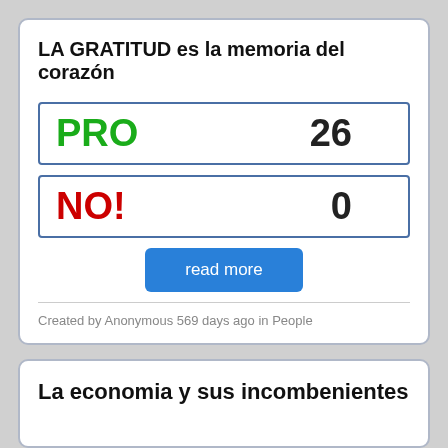LA GRATITUD es la memoria del corazón
| Label | Count |
| --- | --- |
| PRO | 26 |
| NO! | 0 |
read more
Created by Anonymous 569 days ago in People
La economia y sus incombenientes